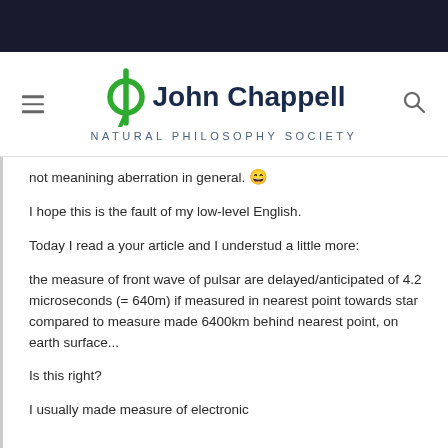John Chappell Natural Philosophy Society
not meanining aberration in general. 😄
I hope this is the fault of my low-level English.
Today I read a your article and I understud a little more:
the measure of front wave of pulsar are delayed/anticipated of 4.2 microseconds (= 640m) if measured in nearest point towards star compared to measure made 6400km behind nearest point, on earth surface...
Is this right?
I usually made measure of electronic